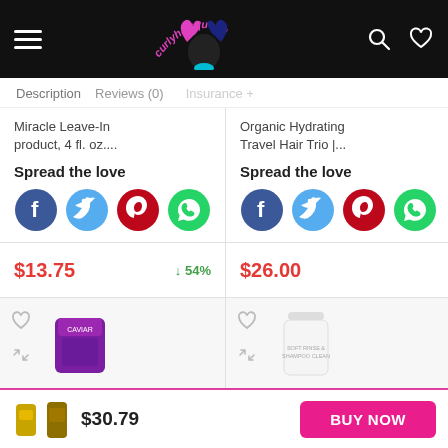Curlyhairqueen — navigation header with hamburger menu, logo, search and wishlist icons
Description   Reviews (0)
Miracle Leave-In product, 4 fl. oz....
Spread the love
[Figure (infographic): Social share icons: Facebook (blue), Twitter (light blue), Pinterest (red), WhatsApp (green)]
$13.75   ↓54%
Organic Hydrating Travel Hair Trio |...
Spread the love
[Figure (infographic): Social share icons: Facebook (blue), Twitter (light blue), Pinterest (red), WhatsApp (green)]
$26.00
[Figure (photo): Product image - purple caviar hair product container]
[Figure (photo): Product image - white hair shampoo/conditioner bottle]
$30.79
BUY NOW